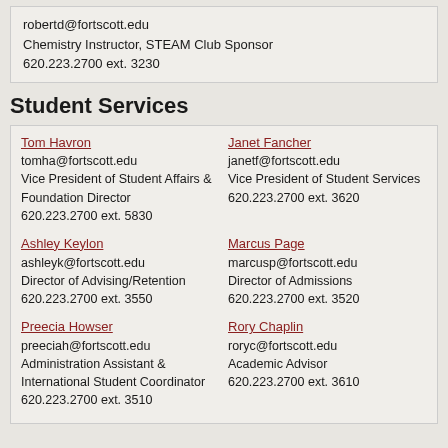robertd@fortscott.edu
Chemistry Instructor, STEAM Club Sponsor
620.223.2700 ext. 3230
Student Services
| Tom Havron
tomha@fortscott.edu
Vice President of Student Affairs & Foundation Director
620.223.2700 ext. 5830 | Janet Fancher
janetf@fortscott.edu
Vice President of Student Services
620.223.2700 ext. 3620 |
| Ashley Keylon
ashleyk@fortscott.edu
Director of Advising/Retention
620.223.2700 ext. 3550 | Marcus Page
marcusp@fortscott.edu
Director of Admissions
620.223.2700 ext. 3520 |
| Preecia Howser
preeciah@fortscott.edu
Administration Assistant & International Student Coordinator
620.223.2700 ext. 3510 | Rory Chaplin
roryc@fortscott.edu
Academic Advisor
620.223.2700 ext. 3610 |